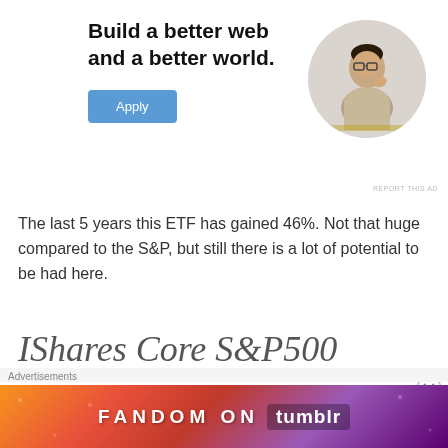[Figure (illustration): Job recruitment advertisement: 'Build a better web and a better world.' with an Apply button and a circular photo of a man thinking]
The last 5 years this ETF has gained 46%. Not that huge compared to the S&P, but still there is a lot of potential to be had here.
IShares Core S&P500
UCITS ETF (CSPX)
[Figure (illustration): Fandom on Tumblr advertisement banner with colorful gradient background]
Advertisements